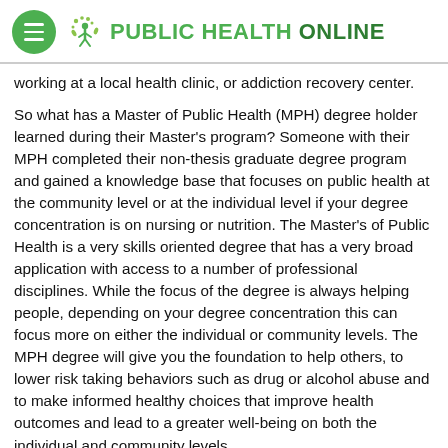PUBLIC HEALTH ONLINE
working at a local health clinic, or addiction recovery center.
So what has a Master of Public Health (MPH) degree holder learned during their Master's program? Someone with their MPH completed their non-thesis graduate degree program and gained a knowledge base that focuses on public health at the community level or at the individual level if your degree concentration is on nursing or nutrition. The Master's of Public Health is a very skills oriented degree that has a very broad application with access to a number of professional disciplines. While the focus of the degree is always helping people, depending on your degree concentration this can focus more on either the individual or community levels. The MPH degree will give you the foundation to help others, to lower risk taking behaviors such as drug or alcohol abuse and to make informed healthy choices that improve health outcomes and lead to a greater well-being on both the individual and community levels.